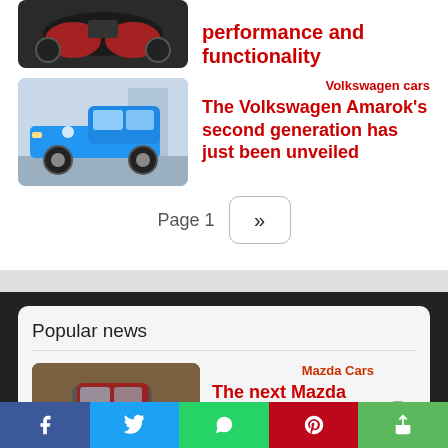performance and functionality
[Figure (photo): Car interior with red and black seats, top-down view]
[Figure (photo): Blue Volkswagen Amarok pickup truck, side view]
Volkswagen cars
The Volkswagen Amarok's second generation has just been unveiled
Page 1
Popular news
[Figure (photo): Gray Mazda MX-5 with red soft top, rear view]
Mazda Cars
The next Mazda MX-5 will receive a hybrid version